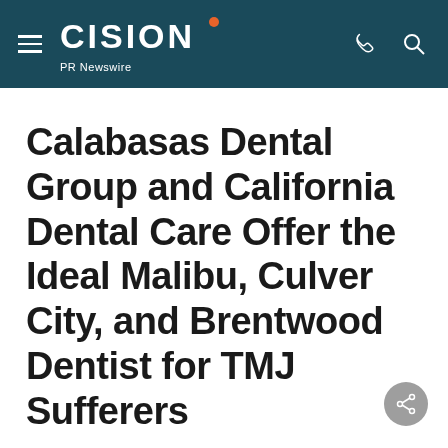CISION PR Newswire
Calabasas Dental Group and California Dental Care Offer the Ideal Malibu, Culver City, and Brentwood Dentist for TMJ Sufferers
For TMJ treatment and much more, Drs. Feiz and Kamjoo offer truly effective dental solutions